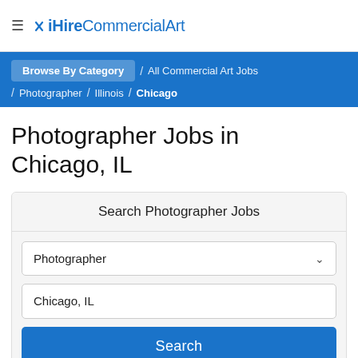≡ iHireCommercialArt
Browse By Category / All Commercial Art Jobs / Photographer / Illinois / Chicago
Photographer Jobs in Chicago, IL
Search Photographer Jobs
Photographer
Chicago, IL
Search